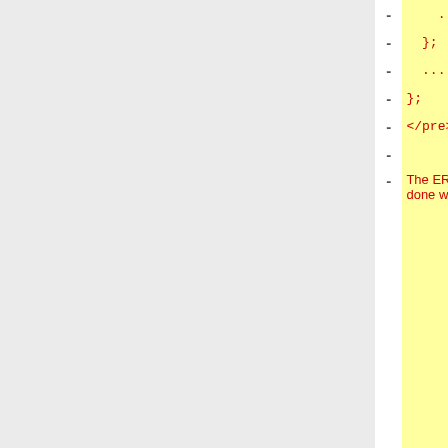| - | left | + | right |
| --- | --- | --- | --- |
| - |     ... | + |  |
| - |   }; | + |  |
| - |   ... | + |  |
| - | }; | + |  |
| - | </pre> | + |  |
| - |  | + |  |
| - | The ERIKA Enterprise internal types re-definition is done wrinting a C header file named <code>ee_types.h</code>: | + |  |
| - | <pre> | + |  |
| - | ... | + |  |
| - | #define EE_TYPETICK EE_INT16 | + |  |
| - | ... | + |  |
| - | </pre> | + |  |
| - |  | + |  |
| - | === Avoid the | + |  |